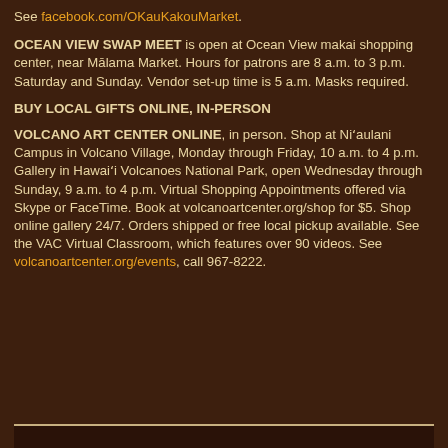See facebook.com/OKauKakouMarket.
OCEAN VIEW SWAP MEET is open at Ocean View makai shopping center, near Mālama Market. Hours for patrons are 8 a.m. to 3 p.m. Saturday and Sunday. Vendor set-up time is 5 a.m. Masks required.
BUY LOCAL GIFTS ONLINE, IN-PERSON
VOLCANO ART CENTER ONLINE, in person. Shop at Niʻaulani Campus in Volcano Village, Monday through Friday, 10 a.m. to 4 p.m. Gallery in Hawaiʻi Volcanoes National Park, open Wednesday through Sunday, 9 a.m. to 4 p.m. Virtual Shopping Appointments offered via Skype or FaceTime. Book at volcanoartcenter.org/shop for $5. Shop online gallery 24/7. Orders shipped or free local pickup available. See the VAC Virtual Classroom, which features over 90 videos. See volcanoartcenter.org/events, call 967-8222.